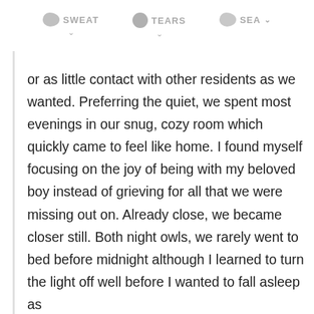SWEAT  TEARS  SEA
or as little contact with other residents as we wanted. Preferring the quiet, we spent most evenings in our snug, cozy room which quickly came to feel like home. I found myself focusing on the joy of being with my beloved boy instead of grieving for all that we were missing out on. Already close, we became closer still. Both night owls, we rarely went to bed before midnight although I learned to turn the light off well before I wanted to fall asleep as